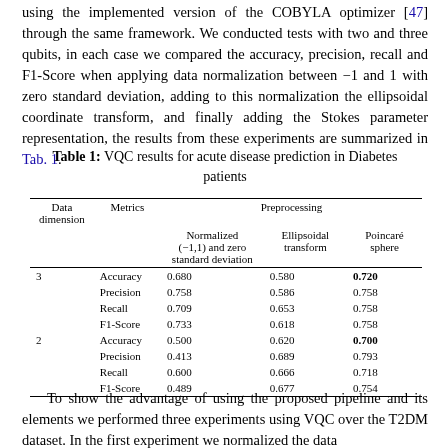using the implemented version of the COBYLA optimizer [47] through the same framework. We conducted tests with two and three qubits, in each case we compared the accuracy, precision, recall and F1-Score when applying data normalization between −1 and 1 with zero standard deviation, adding to this normalization the ellipsoidal coordinate transform, and finally adding the Stokes parameter representation, the results from these experiments are summarized in Tab. 1.
Table 1: VQC results for acute disease prediction in Diabetes patients
| Data dimension | Metrics | Normalized (−1,1) and zero standard deviation | Ellipsoidal transform | Poincaré sphere |
| --- | --- | --- | --- | --- |
| 3 | Accuracy | 0.680 | 0.580 | 0.720 |
|  | Precision | 0.758 | 0.586 | 0.758 |
|  | Recall | 0.709 | 0.653 | 0.758 |
|  | F1-Score | 0.733 | 0.618 | 0.758 |
| 2 | Accuracy | 0.500 | 0.620 | 0.700 |
|  | Precision | 0.413 | 0.689 | 0.793 |
|  | Recall | 0.600 | 0.666 | 0.718 |
|  | F1-Score | 0.489 | 0.677 | 0.754 |
To show the advantage of using the proposed pipeline and its elements we performed three experiments using VQC over the T2DM dataset. In the first experiment we normalized the data